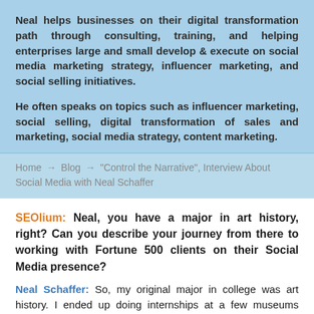Neal helps businesses on their digital transformation path through consulting, training, and helping enterprises large and small develop & execute on social media marketing strategy, influencer marketing, and social selling initiatives.
He often speaks on topics such as influencer marketing, social selling, digital transformation of sales and marketing, social media strategy, content marketing.
Home → Blog → "Control the Narrative", Interview About Social Media with Neal Schaffer
SEOlium: Neal, you have a major in art history, right? Can you describe your journey from there to working with Fortune 500 clients on their Social Media presence?
Neal Schaffer: So, my original major in college was art history. I ended up doing internships at a few museums during my freshman and sophomore years. And it wasn't